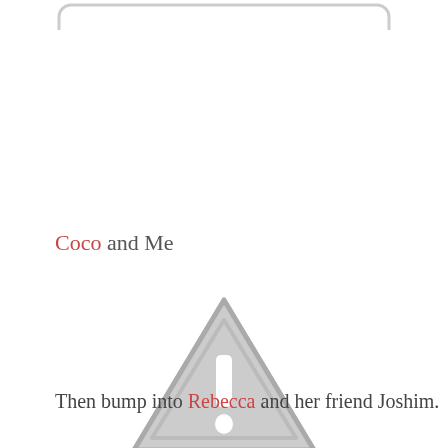[Figure (illustration): Partial image at top of page, appears to be a rounded rectangle outline, cropped at the top edge]
Coco and Me
[Figure (illustration): Gray warning triangle icon with exclamation mark, placeholder image]
Then bump into Rebecca and her friend Joshim.